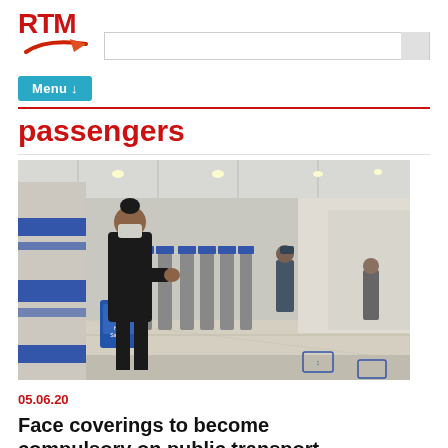RTM
Menu ↓
passengers
[Figure (photo): A woman wearing a face mask and black jacket using a hand sanitizer dispenser at a transit station with ticket barriers and other passengers in the background]
05.06.20
Face coverings to become compulsory on public transport